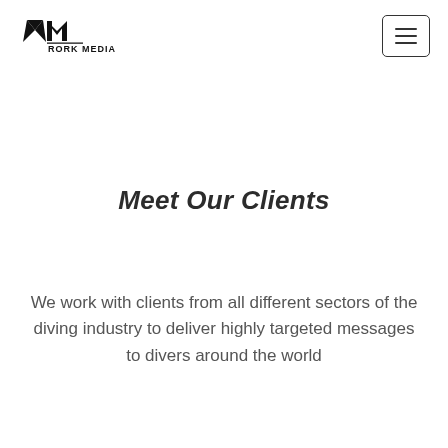RORK MEDIA
Meet Our Clients
We work with clients from all different sectors of the diving industry to deliver highly targeted messages to divers around the world